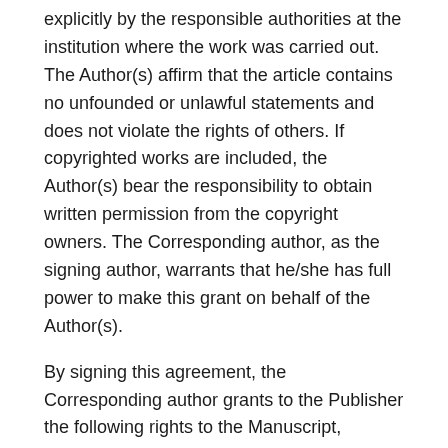explicitly by the responsible authorities at the institution where the work was carried out. The Author(s) affirm that the article contains no unfounded or unlawful statements and does not violate the rights of others. If copyrighted works are included, the Author(s) bear the responsibility to obtain written permission from the copyright owners. The Corresponding author, as the signing author, warrants that he/she has full power to make this grant on behalf of the Author(s).
By signing this agreement, the Corresponding author grants to the Publisher the following rights to the Manuscript, including any supplemental material, and any parts, extracts or elements thereof:
the right to reproduce and distribute the Manuscript in printed form, including print-on-demand;
the right to produce prepublications, reprints, and special editions of the Manuscript;
the right to translate the Manuscript into other languages;
the right to reproduce the Manuscript using